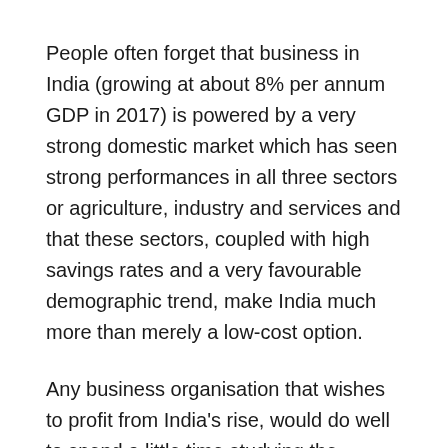People often forget that business in India (growing at about 8% per annum GDP in 2017) is powered by a very strong domestic market which has seen strong performances in all three sectors or agriculture, industry and services and that these sectors, coupled with high savings rates and a very favourable demographic trend, make India much more than merely a low-cost option.
Any business organisation that wishes to profit from India's rise, would do well to spend a little time studying the cultural norms which drive the thinking of the Indian people.
Although it is difficult to generalise about the